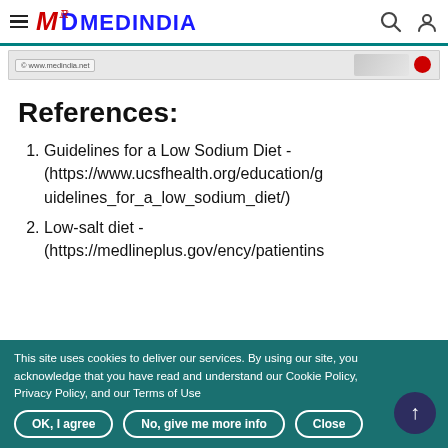MEDINDIA
[Figure (screenshot): Partial image strip showing www.medindia.net watermark and a red circle graphic]
References:
Guidelines for a Low Sodium Diet - (https://www.ucsfhealth.org/education/guidelines_for_a_low_sodium_diet/)
Low-salt diet - (https://medlineplus.gov/ency/patientins
This site uses cookies to deliver our services. By using our site, you acknowledge that you have read and understand our Cookie Policy, Privacy Policy, and our Terms of Use
OK, I agree   No, give me more info   Close